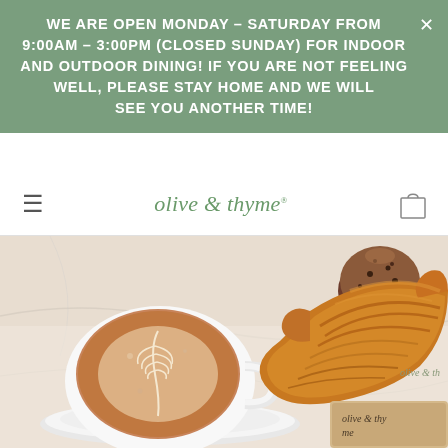WE ARE OPEN MONDAY – SATURDAY FROM 9:00AM – 3:00PM (CLOSED SUNDAY) FOR INDOOR AND OUTDOOR DINING! IF YOU ARE NOT FEELING WELL, PLEASE STAY HOME AND WE WILL SEE YOU ANOTHER TIME!
olive & thyme
[Figure (photo): A latte art coffee in a white cup on a saucer, a chocolate muffin in a paper wrapper, and a golden croissant, all arranged on a white marble tray with olive & thyme branded items.]